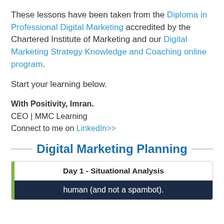These lessons have been taken from the Diploma in Professional Digital Marketing accredited by the Chartered Institute of Marketing and our Digital Marketing Strategy Knowledge and Coaching online program.
Start your learning below.
With Positivity, Imran.
CEO | MMC Learning
Connect to me on LinkedIn>>
Digital Marketing Planning
Day 1 - Situational Analysis
human (and not a spambot).